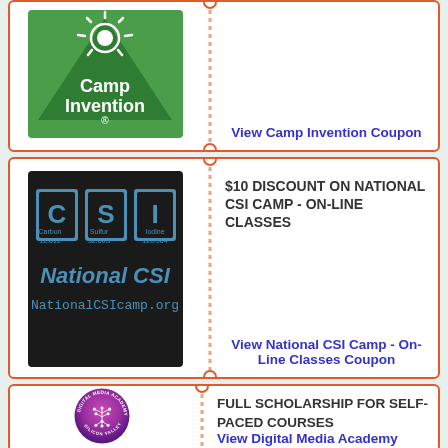[Figure (logo): Camp Invention logo - green mountain/sun icon with white text on green background]
View Camp Invention Coupon
$10 DISCOUNT ON NATIONAL CSI CAMP - ON-LINE CLASSES
[Figure (logo): National CSI Camp logo - periodic table style letters C, S, I on black background with blue text NationalCSIcamp.org]
View National CSI Camp - On-Line Classes Coupon
FULL SCHOLARSHIP FOR SELF-PACED COURSES
[Figure (logo): Digital Media Academy Silicon Valley circular logo - purple/magenta gradient circle with white circuit tree icon]
View Digital Media Academy